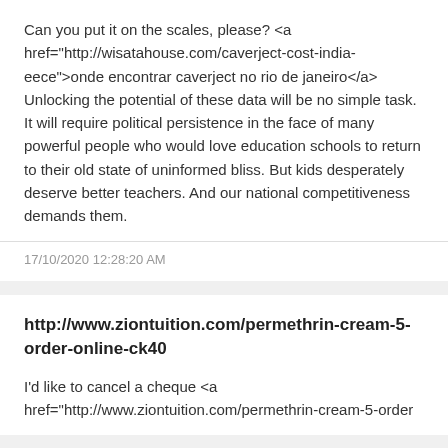Can you put it on the scales, please? <a href="http://wisatahouse.com/caverject-cost-india-eece">onde encontrar caverject no rio de janeiro</a> Unlocking the potential of these data will be no simple task. It will require political persistence in the face of many powerful people who would love education schools to return to their old state of uninformed bliss. But kids desperately deserve better teachers. And our national competitiveness demands them.
17/10/2020 12:28:20 AM
http://www.ziontuition.com/permethrin-cream-5-order-online-ck40
I'd like to cancel a cheque <a